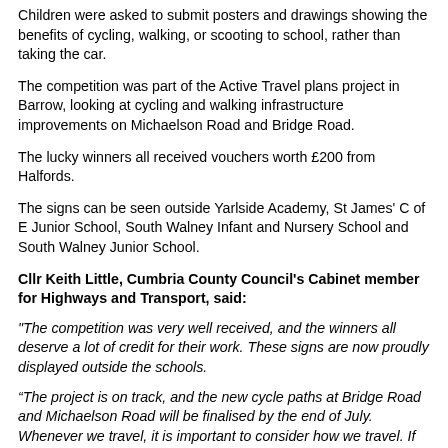Children were asked to submit posters and drawings showing the benefits of cycling, walking, or scooting to school, rather than taking the car.
The competition was part of the Active Travel plans project in Barrow, looking at cycling and walking infrastructure improvements on Michaelson Road and Bridge Road.
The lucky winners all received vouchers worth £200 from Halfords.
The signs can be seen outside Yarlside Academy, St James' C of E Junior School, South Walney Infant and Nursery School and South Walney Junior School.
Cllr Keith Little, Cumbria County Council's Cabinet member for Highways and Transport, said:
"The competition was very well received, and the winners all deserve a lot of credit for their work. These signs are now proudly displayed outside the schools.
“The project is on track, and the new cycle paths at Bridge Road and Michaelson Road will be finalised by the end of July. Whenever we travel, it is important to consider how we travel. If we can become more active and reduce driving by